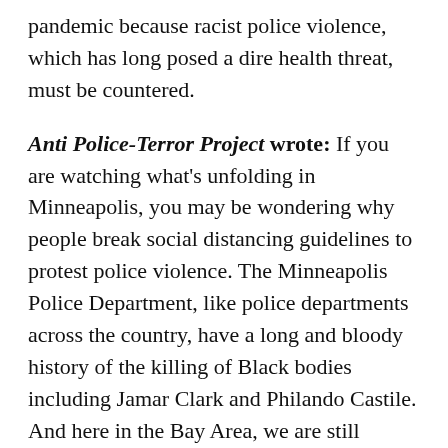pandemic because racist police violence, which has long posed a dire health threat, must be countered.
Anti Police-Terror Project wrote: If you are watching what's unfolding in Minneapolis, you may be wondering why people break social distancing guidelines to protest police violence. The Minneapolis Police Department, like police departments across the country, have a long and bloody history of the killing of Black bodies including Jamar Clark and Philando Castile. And here in the Bay Area, we are still reeling from the murder of Steven Taylor in San Leandro and the shooting of one Black person and one Chicanx by